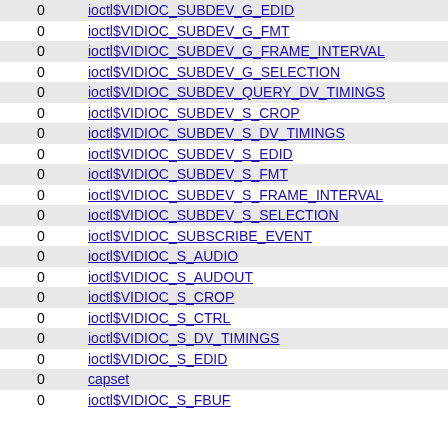|  |  |
| --- | --- |
| 0 | ioctl$VIDIOC_SUBDEV_G_EDID |
| 0 | ioctl$VIDIOC_SUBDEV_G_FMT |
| 0 | ioctl$VIDIOC_SUBDEV_G_FRAME_INTERVAL |
| 0 | ioctl$VIDIOC_SUBDEV_G_SELECTION |
| 0 | ioctl$VIDIOC_SUBDEV_QUERY_DV_TIMINGS |
| 0 | ioctl$VIDIOC_SUBDEV_S_CROP |
| 0 | ioctl$VIDIOC_SUBDEV_S_DV_TIMINGS |
| 0 | ioctl$VIDIOC_SUBDEV_S_EDID |
| 0 | ioctl$VIDIOC_SUBDEV_S_FMT |
| 0 | ioctl$VIDIOC_SUBDEV_S_FRAME_INTERVAL |
| 0 | ioctl$VIDIOC_SUBDEV_S_SELECTION |
| 0 | ioctl$VIDIOC_SUBSCRIBE_EVENT |
| 0 | ioctl$VIDIOC_S_AUDIO |
| 0 | ioctl$VIDIOC_S_AUDOUT |
| 0 | ioctl$VIDIOC_S_CROP |
| 0 | ioctl$VIDIOC_S_CTRL |
| 0 | ioctl$VIDIOC_S_DV_TIMINGS |
| 0 | ioctl$VIDIOC_S_EDID |
| 0 | capset |
| 0 | ioctl$VIDIOC_S_FBUF |